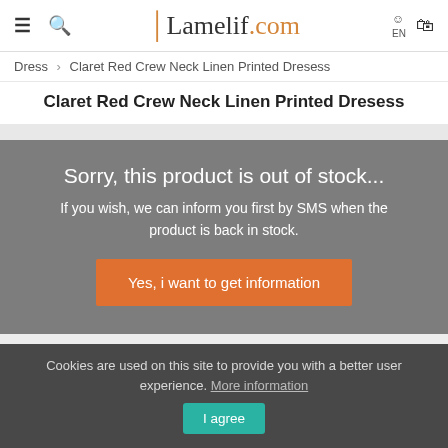≡ 🔍  Lamelif.com  EN 🛍
Dress › Claret Red Crew Neck Linen Printed Dresess
Claret Red Crew Neck Linen Printed Dresess
Sorry, this product is out of stock... If you wish, we can inform you first by SMS when the product is back in stock.
Yes, i want to get information
Cookies are used on this site to provide you with a better user experience. More information  I agree